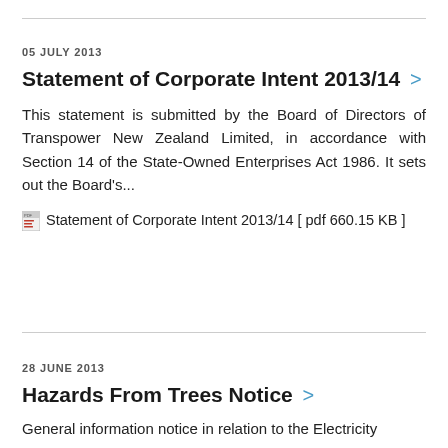05 JULY 2013
Statement of Corporate Intent 2013/14 >
This statement is submitted by the Board of Directors of Transpower New Zealand Limited, in accordance with Section 14 of the State-Owned Enterprises Act 1986. It sets out the Board's...
Statement of Corporate Intent 2013/14 [ pdf 660.15 KB ]
28 JUNE 2013
Hazards From Trees Notice >
General information notice in relation to the Electricity